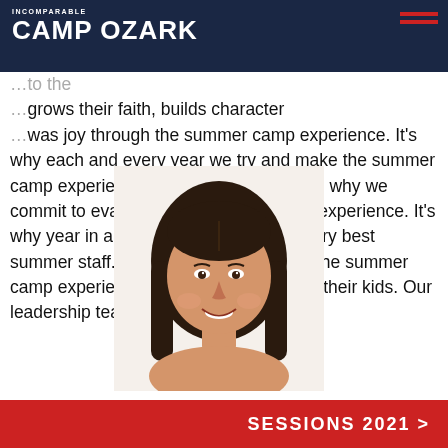INCOMPARABLE CAMP OZARK
...to the ...grows their faith, builds character ...was joy through the summer camp experience. It's why each and every year we try and make the summer camp experience better than the last. It's why we commit to evaluating every detail of the experience. It's why year in and year out we seek the very best summer staff. For many camp families, the summer camp experience is a game-changer for their kids. Our leadership team is truly incomparable.
[Figure (photo): Headshot of a young woman with long dark hair, smiling, against a white background]
SESSIONS 2021 >